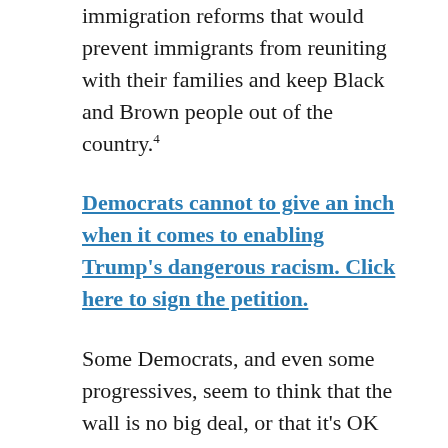immigration reforms that would prevent immigrants from reuniting with their families and keep Black and Brown people out of the country.4
Democrats cannot to give an inch when it comes to enabling Trump's dangerous racism. Click here to sign the petition.
Some Democrats, and even some progressives, seem to think that the wall is no big deal, or that it's OK to give in a little to Trump and Republicans in order to save Dreamers. But we cannot ever forget that Trump's entire campaign – from calling Mexicans rapists to promising to build the wall – was a public